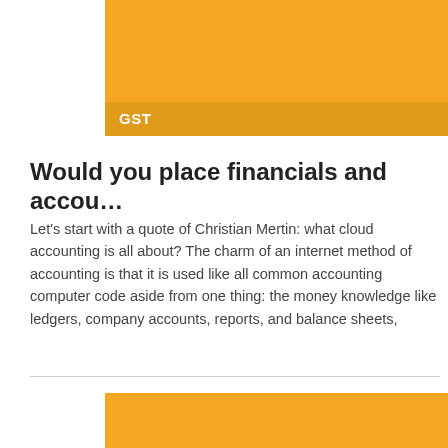[Figure (other): Orange rectangular block at top of page with GST label]
Would you place financials and accou…
Let's start with a quote of Christian Mertin: what cloud accounting is all about? The charm of an internet method of accounting is that it is used like all common accounting computer code aside from one thing: the money knowledge like ledgers, company accounts, reports, and balance sheets,
[Figure (other): Orange rectangular block at bottom of page]